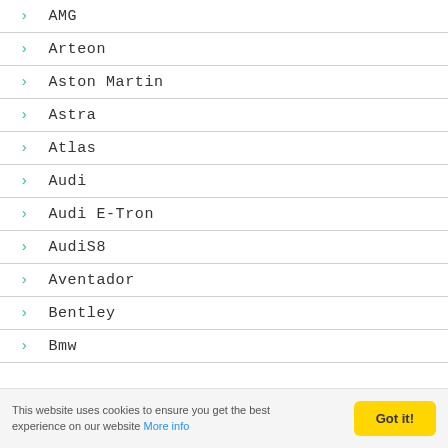AMG
Arteon
Aston Martin
Astra
Atlas
Audi
Audi E-Tron
AudiS8
Aventador
Bentley
Bmw
This website uses cookies to ensure you get the best experience on our website More info